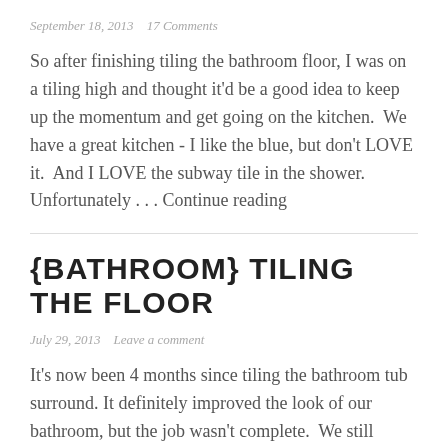September 18, 2013   17 Comments
So after finishing tiling the bathroom floor, I was on a tiling high and thought it'd be a good idea to keep up the momentum and get going on the kitchen.  We have a great kitchen - I like the blue, but don't LOVE it.  And I LOVE the subway tile in the shower.  Unfortunately . . . Continue reading
{BATHROOM} TILING THE FLOOR
July 29, 2013   Leave a comment
It's now been 4 months since tiling the bathroom tub surround. It definitely improved the look of our bathroom, but the job wasn't complete.  We still needed to redo the floor. I  kept meaning to find time to figure out what I should do...